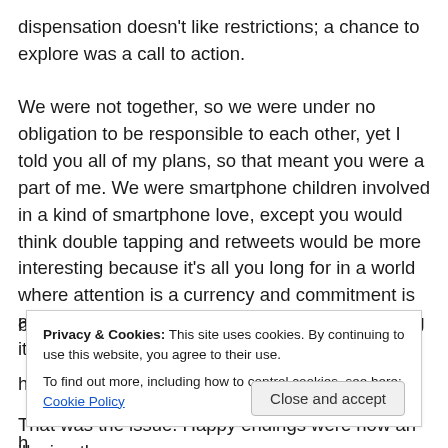dispensation doesn't like restrictions; a chance to explore was a call to action.

We were not together, so we were under no obligation to be responsible to each other, yet I told you all of my plans, so that meant you were a part of me. We were smartphone children involved in a kind of smartphone love, except you would think double tapping and retweets would be more interesting because it's all you long for in a world where attention is a currency and commitment is a fallacy. The world was our canvass and painting it was our job. We couldn't stomach the
Privacy & Cookies: This site uses cookies. By continuing to use this website, you agree to their use.
To find out more, including how to control cookies, see here: Cookie Policy
That was the issue. Happy endings were now an illusion the